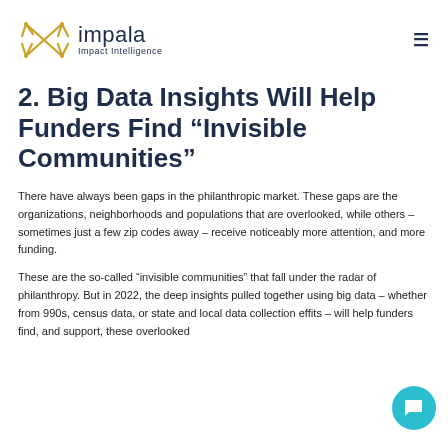impala Impact Intelligence
2. Big Data Insights Will Help Funders Find “Invisible Communities”
There have always been gaps in the philanthropic market. These gaps are the organizations, neighborhoods and populations that are overlooked, while others – sometimes just a few zip codes away – receive noticeably more attention, and more funding.
These are the so-called “invisible communities” that fall under the radar of philanthropy. But in 2022, the deep insights pulled together using big data – whether from 990s, census data, or state and local data collection efforts – will help funders find, and support, these overlooked